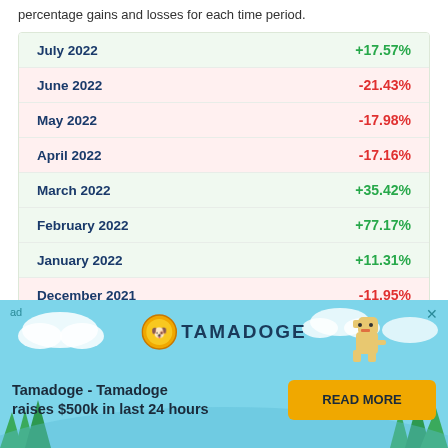percentage gains and losses for each time period.
| Period | Change |
| --- | --- |
| July 2022 | +17.57% |
| June 2022 | -21.43% |
| May 2022 | -17.98% |
| April 2022 | -17.16% |
| March 2022 | +35.42% |
| February 2022 | +77.17% |
| January 2022 | +11.31% |
| December 2021 | -11.95% |
| November 2021 | +20.66% |
| October 2021 | +10.56% |
Show more ∨
[Figure (illustration): Tamadoge advertisement banner with sky/cloud background, Tamadoge logo (coin and dog), text 'Tamadoge - Tamadoge raises $500k in last 24 hours', and a READ MORE button.]